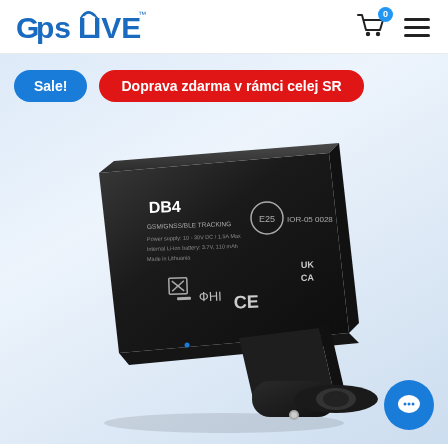[Figure (logo): GpsLive logo with blue stylized text, GPS signal arc over the i]
[Figure (infographic): Shopping cart icon with blue badge showing 0, and hamburger menu icon]
Sale!
Doprava zdarma v rámci celej SR
[Figure (photo): Black DB4 GPS tracker device that plugs into a car cigarette lighter socket. Device shows label: DB4, regulatory markings including E25, IOR-05 0028, FCC, UK CA, EAC, CE logos.]